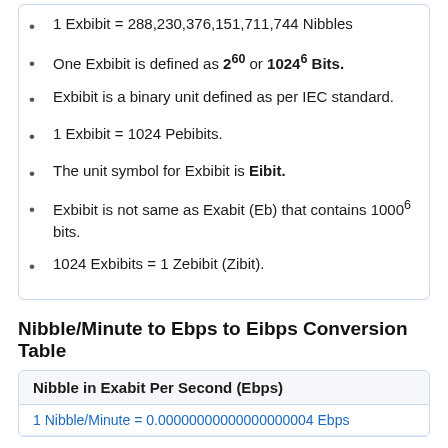1 Exbibit = 288,230,376,151,711,744 Nibbles
One Exbibit is defined as 2^60 or 1024^6 Bits.
Exbibit is a binary unit defined as per IEC standard.
1 Exbibit = 1024 Pebibits.
The unit symbol for Exbibit is Eibit.
Exbibit is not same as Exabit (Eb) that contains 1000^6 bits.
1024 Exbibits = 1 Zebibit (Zibit).
Nibble/Minute to Ebps to Eibps Conversion Table
| Nibble in Exabit Per Second (Ebps) |
| --- |
| 1 Nibble/Minute = 0.00000000000000000004 Ebps |